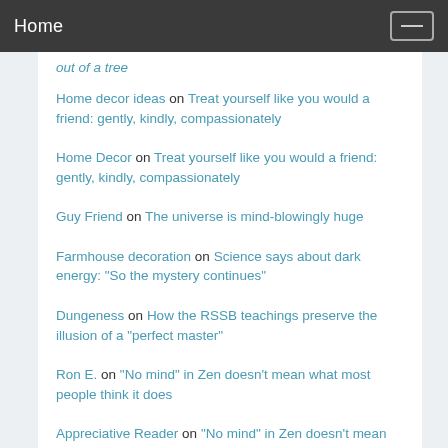Home
out of a tree
Home decor ideas on Treat yourself like you would a friend: gently, kindly, compassionately
Home Decor on Treat yourself like you would a friend: gently, kindly, compassionately
Guy Friend on The universe is mind-blowingly huge
Farmhouse decoration on Science says about dark energy: "So the mystery continues"
Dungeness on How the RSSB teachings preserve the illusion of a "perfect master"
Ron E. on "No mind" in Zen doesn't mean what most people think it does
Appreciative Reader on "No mind" in Zen doesn't mean what most people think it does
Ron E. on "No mind" in Zen doesn't mean what most people think it does